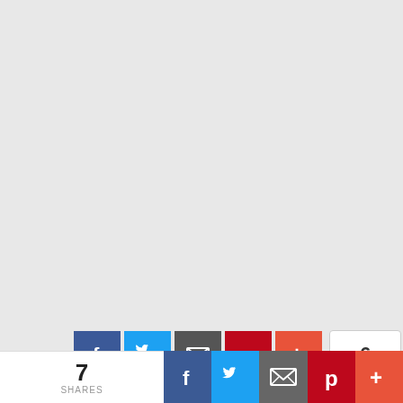[Figure (screenshot): Social media share bar with Facebook, Twitter, Email, Pinterest, and +More buttons, plus a share count of 6. A bottom sticky bar shows 7 SHARES with the same social icons.]